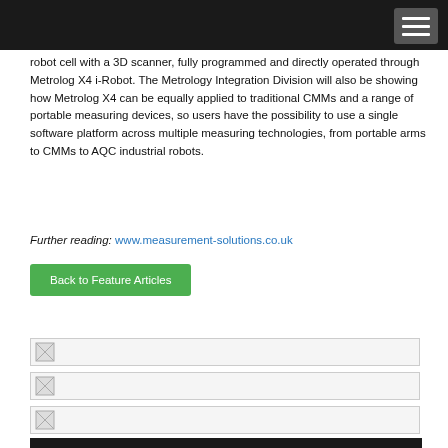robot cell with a 3D scanner, fully programmed and directly operated through Metrolog X4 i-Robot. The Metrology Integration Division will also be showing how Metrolog X4 can be equally applied to traditional CMMs and a range of portable measuring devices, so users have the possibility to use a single software platform across multiple measuring technologies, from portable arms to CMMs to AQC industrial robots.
Further reading: www.measurement-solutions.co.uk
Back to Feature Articles
[Figure (other): Broken image placeholder row 1]
[Figure (other): Broken image placeholder row 2]
[Figure (other): Broken image placeholder row 3]
Reaching a combined audience of 38,000 decision